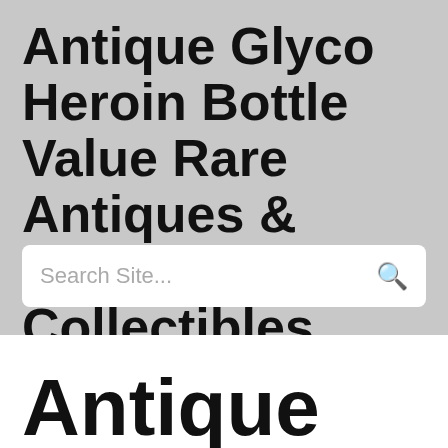Antique Glyco Heroin Bottle Value Rare Antiques & Other Collectibles
Search Site...
Antique